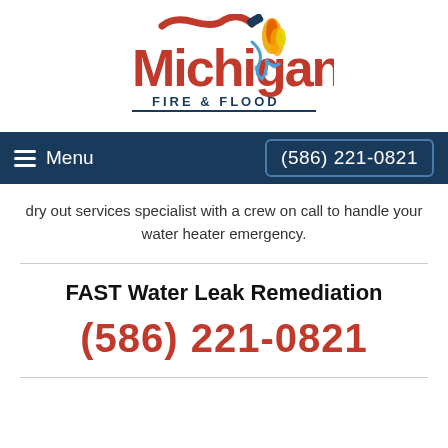[Figure (logo): Michigan Fire & Flood logo with red fire hose forming letter M, water splash, and flame graphic]
Menu  (586) 221-0821
dry out services specialist with a crew on call to handle your water heater emergency.
FAST Water Leak Remediation
(586) 221-0821